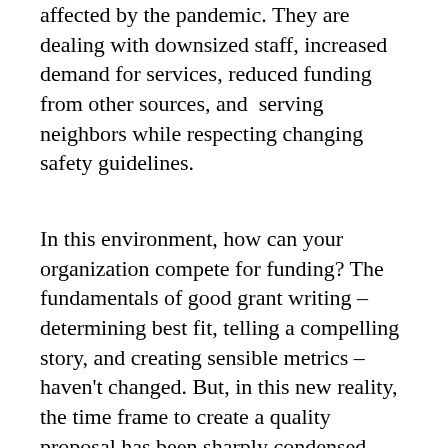affected by the pandemic. They are dealing with downsized staff, increased demand for services, reduced funding from other sources, and serving neighbors while respecting changing safety guidelines.
In this environment, how can your organization compete for funding? The fundamentals of good grant writing – determining best fit, telling a compelling story, and creating sensible metrics – haven't changed. But, in this new reality, the time frame to create a quality proposal has been sharply condensed. Grant writing has become a bit like the TV show “Chopped” – complex tasks that